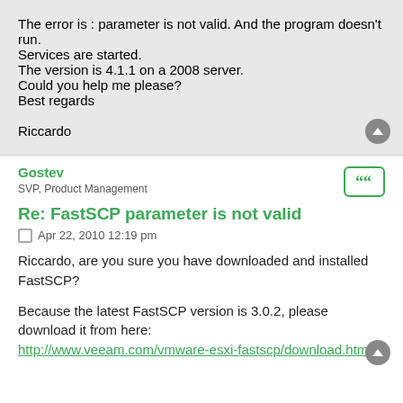The error is : parameter is not valid. And the program doesn't run.
Services are started.
The version is 4.1.1 on a 2008 server.
Could you help me please?
Best regards

Riccardo
Gostev
SVP, Product Management
Re: FastSCP parameter is not valid
Apr 22, 2010 12:19 pm
Riccardo, are you sure you have downloaded and installed FastSCP?
Because the latest FastSCP version is 3.0.2, please download it from here:
http://www.veeam.com/vmware-esxi-fastscp/download.html